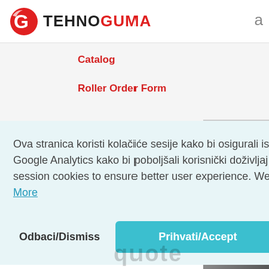[Figure (logo): TehnoGuma logo with red G icon and company name]
Catalog
Roller Order Form
Ova stranica koristi kolačiće sesije kako bi osigurali ispravan rad web stranice. Koristimo također Google Analytics kako bi poboljšali korisnički doživljaj i unaprijedili web stranicu. / This website uses session cookies to ensure better user experience. We also use Google Analytics  Saznaj više/Learn More
Odbaci/Dismiss
Prihvati/Accept